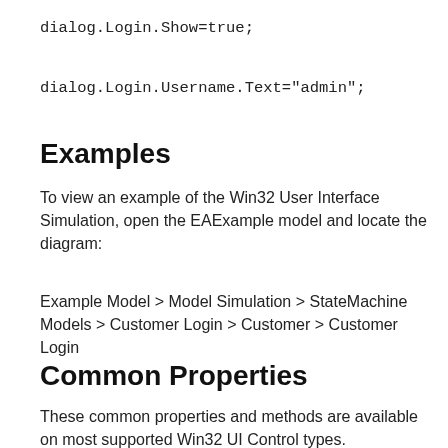dialog.Login.Show=true;
dialog.Login.Username.Text="admin";
Examples
To view an example of the Win32 User Interface Simulation, open the EAExample model and locate the diagram:
Example Model > Model Simulation > StateMachine Models > Customer Login > Customer > Customer Login
Common Properties
These common properties and methods are available on most supported Win32 UI Control types.